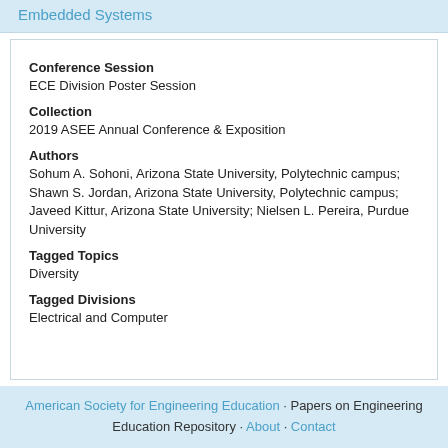Embedded Systems
Conference Session
ECE Division Poster Session
Collection
2019 ASEE Annual Conference & Exposition
Authors
Sohum A. Sohoni, Arizona State University, Polytechnic campus; Shawn S. Jordan, Arizona State University, Polytechnic campus; Javeed Kittur, Arizona State University; Nielsen L. Pereira, Purdue University
Tagged Topics
Diversity
Tagged Divisions
Electrical and Computer
American Society for Engineering Education · Papers on Engineering Education Repository · About · Contact